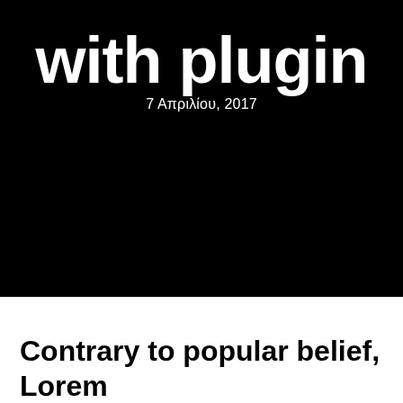with plugin
7 Απριλίου, 2017
Contrary to popular belief, Lorem